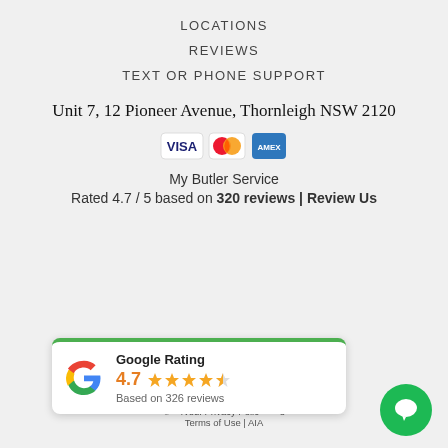LOCATIONS
REVIEWS
TEXT OR PHONE SUPPORT
Unit 7, 12 Pioneer Avenue, Thornleigh NSW 2120
[Figure (logo): Payment icons: Visa, Mastercard, American Express]
My Butler Service
Rated 4.7 / 5 based on 320 reviews | Review Us
[Figure (infographic): Google Rating card showing 4.7 stars based on 326 reviews]
© ... rved. Privacy Polic... | Terms of Use | AIA
[Figure (other): Green chat bubble widget in bottom right corner]